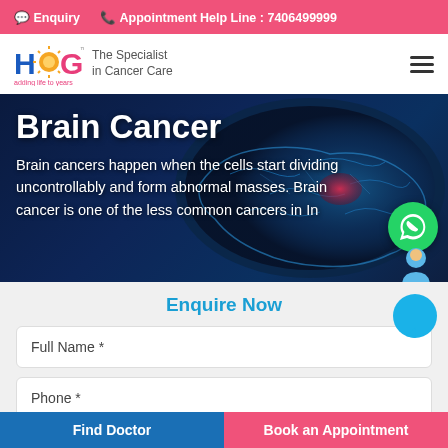Enquiry  Appointment Help Line : 7406499999
[Figure (logo): HCG logo with sun icon, text 'The Specialist in Cancer Care', tagline 'adding life to years']
[Figure (photo): Hero background: glowing blue 3D brain scan with red tumor highlight on dark navy background]
Brain Cancer
Brain cancers happen when the cells start dividing uncontrollably and form abnormal masses. Brain cancer is one of the less common cancers in In...
Enquire Now
Full Name *
Phone *
Find Doctor  |  Book an Appointment